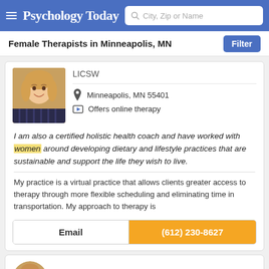Psychology Today — City, Zip or Name search
Female Therapists in Minneapolis, MN
LICSW
Minneapolis, MN 55401
Offers online therapy
I am also a certified holistic health coach and have worked with women around developing dietary and lifestyle practices that are sustainable and support the life they wish to live.
My practice is a virtual practice that allows clients greater access to therapy through more flexible scheduling and eliminating time in transportation. My approach to therapy is
Email
(612) 230-8627
Alexandria Grim